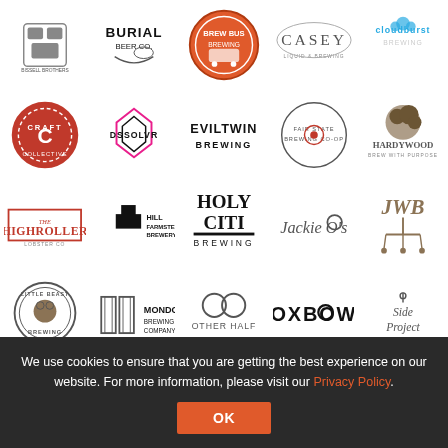[Figure (logo): Grid of brewery logos: Bissell Brothers Brewing, Burial Beer Co, Brew Bus Brewing, Casey, Cloudburst Brewing, Craft Collective, DSSOLVR, Evil Twin Brewing, Fair State Brewing Cooperative, Hardywood, The Highroller, Hill Farmstead Brewery, Holy City Brewing, Jackie O's, JWB, Little Beast Brewing, Mondo Brewing Company, Other Half, Oxbow, Side Project, and partial logos at bottom]
We use cookies to ensure that you are getting the best experience on our website. For more information, please visit our Privacy Policy.
OK